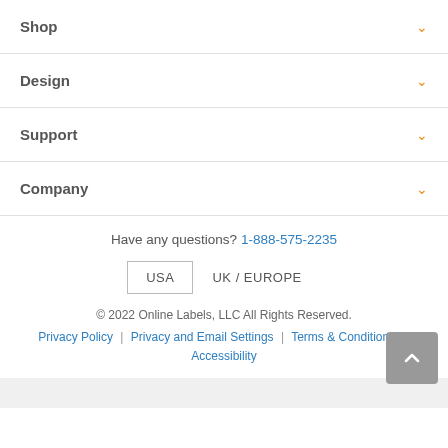Shop
Design
Support
Company
Have any questions? 1-888-575-2235
USA  UK / EUROPE
© 2022 Online Labels, LLC All Rights Reserved.
Privacy Policy  |  Privacy and Email Settings  |  Terms & Conditions  |  Accessibility